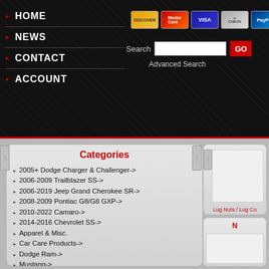HOME | NEWS | CONTACT | ACCOUNT — navigation menu with payment icons (Discover, MasterCard, Visa, eCheck, PayPal), Search bar, Advanced Search
Categories
2005+ Dodge Charger & Challenger->
2006-2009 Trailblazer SS->
2006-2019 Jeep Grand Cherokee SR->
2008-2009 Pontiac G8/G8 GXP->
2010-2022 Camaro->
2014-2016 Chevrolet SS->
Apparel & Misc.
Car Care Products->
Dodge Ram->
Mustang->
Vehicles
82-92 F-Body->
93-97 F-Body->
Braking->
Car Audio
Computer->
Cooling System
Driveline->
Engine->
Exhaust->
Exterior->
Fuel & Nitrous->
Ignition->
Lug Nuts / Lug Co...
N...